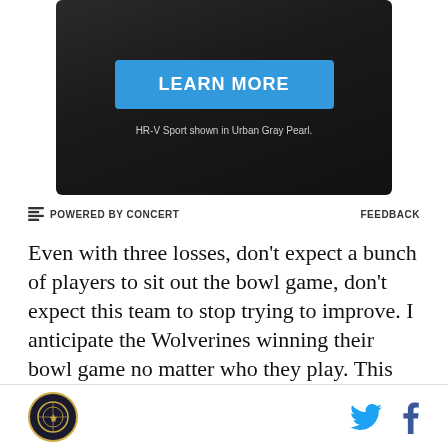[Figure (other): Dark gray advertisement banner with a blue 'LEARN MORE' button and caption 'HR-V Sport shown in Urban Gray Pearl.']
POWERED BY CONCERT
FEEDBACK
Even with three losses, don't expect a bunch of players to sit out the bowl game, don't expect this team to stop trying to improve. I anticipate the Wolverines winning their bowl game no matter who they play. This team isn't a group of quitters or whiners, and while some will consider the loss to the Buckeyes a season defining loss, the players cannot allow themselves to have that
[Figure (logo): SB Nation site logo — circular gold-bordered emblem on dark background, with Twitter and Facebook social icons on the right]